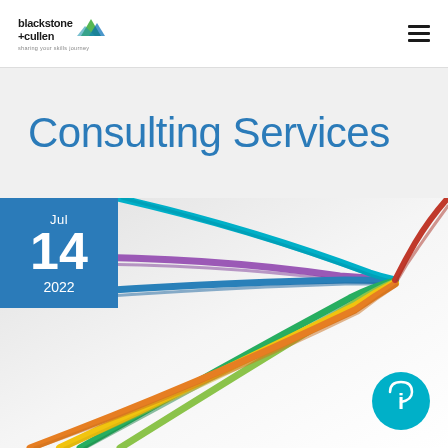blackstone + cullen — sharing your skills journey
Consulting Services
[Figure (illustration): Colorful braided ropes (purple, blue, teal, green, yellow-green, yellow, orange) converging to a point on the right side of the image, against a light gray background. A blue square date badge shows Jul 14 2022. A teal info circle icon is in the bottom right.]